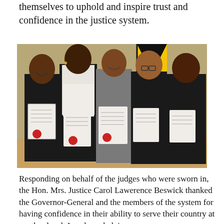themselves to uphold and inspire trust and confidence in the justice system.
[Figure (photo): Five female judges standing in a row, each holding official documents with red wax seals, in a formal interior setting with a Jamaican flag visible in the background.]
Responding on behalf of the judges who were sworn in, the Hon. Mrs. Justice Carol Lawerence Beswick thanked the Governor-General and the members of the system for having confidence in their ability to serve their country at another level. In acknowledging